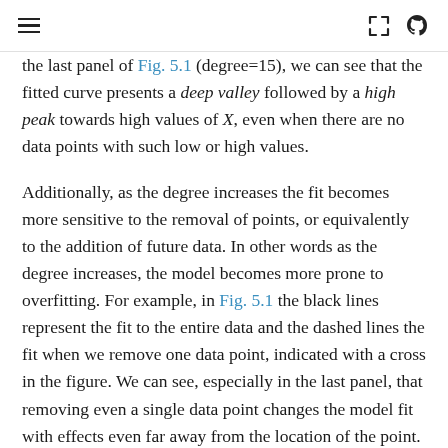Navigation header with hamburger menu, expand icon, and GitHub icon
the last panel of Fig. 5.1 (degree=15), we can see that the fitted curve presents a deep valley followed by a high peak towards high values of X, even when there are no data points with such low or high values.

Additionally, as the degree increases the fit becomes more sensitive to the removal of points, or equivalently to the addition of future data. In other words as the degree increases, the model becomes more prone to overfitting. For example, in Fig. 5.1 the black lines represent the fit to the entire data and the dashed lines the fit when we remove one data point, indicated with a cross in the figure. We can see, especially in the last panel, that removing even a single data point changes the model fit with effects even far away from the location of the point.